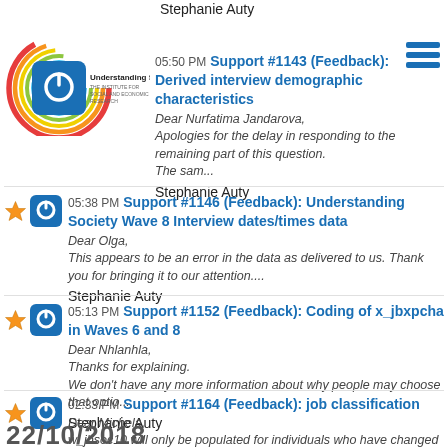Stephanie Auty
[Figure (logo): Understanding Society logo with colorful concentric circles and power button icon, with 'Understanding Society' and 'THE INSTITUTE FOR SOCIAL AND ECONOMIC RESEARCH' text]
05:50 PM Support #1143 (Feedback): Derived interview demographic characteristics
Dear Nurfatima Jandarova,
Apologies for the delay in responding to the remaining part of this question.
The sam...
Stephanie Auty
05:38 PM Support #1146 (Feedback): Understanding Society Wave 8 Interview dates/times data
Dear Olga,
This appears to be an error in the data as delivered to us. Thank you for bringing it to our attention....
Stephanie Auty
05:13 PM Support #1152 (Feedback): Coding of x_jbxpcha in Waves 6 and 8
Dear Nhlanhla,
Thanks for explaining.
We don't have any more information about why people may choose that optio...
Stephanie Auty
02:33 PM Support #1164 (Feedback): job classification
Dear Michela,
w_jbsoc10 will only be populated for individuals who have changed their job since we introduced codi...
Stephanie Auty
22/10/2018 (partial)